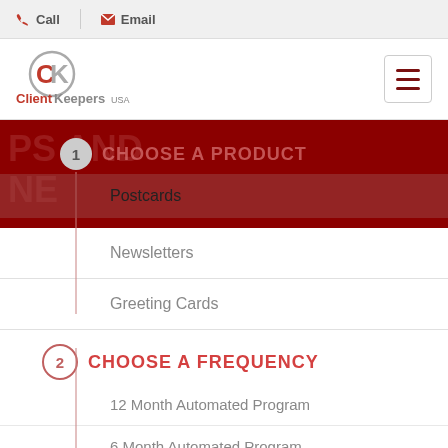Call  Email
[Figure (logo): ClientKeepers USA logo with CK initials]
CHOOSE A PRODUCT
Postcards
Newsletters
Greeting Cards
2 CHOOSE A FREQUENCY
12 Month Automated Program
6 Month Automated Program